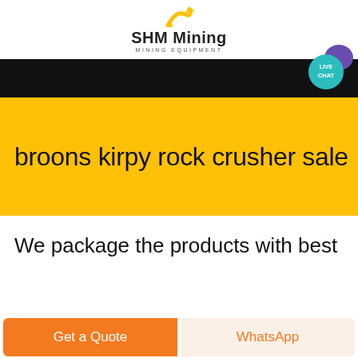SHM Mining
MINING EQUIPMENT
[Figure (other): Black navigation bar with live chat bubble icon (teal circle with LIVE CHAT text and purple speech bubble icon) in the top-right corner]
broons kirpy rock crusher sale
We package the products with best
Get a Quote
WhatsApp